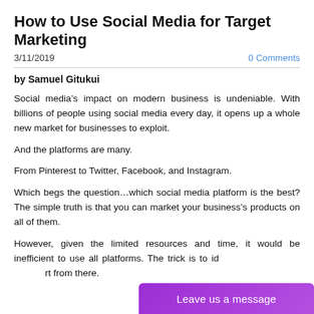How to Use Social Media for Target Marketing
3/11/2019   0 Comments
by Samuel Gitukui
Social media’s impact on modern business is undeniable. With billions of people using social media every day, it opens up a whole new market for businesses to exploit.
And the platforms are many.
From Pinterest to Twitter, Facebook, and Instagram.
Which begs the question…which social media platform is the best? The simple truth is that you can market your business’s products on all of them.
However, given the limited resources and time, it would be inefficient to use all platforms. The trick is to id... rt from there.